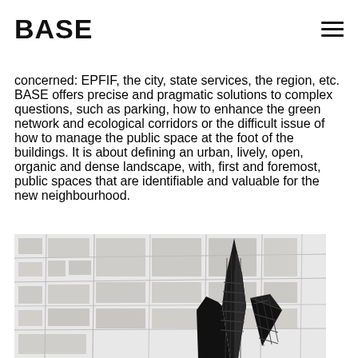BASE
concerned: EPFIF, the city, state services, the region, etc. BASE offers precise and pragmatic solutions to complex questions, such as parking, how to enhance the green network and ecological corridors or the difficult issue of how to manage the public space at the foot of the buildings. It is about defining an urban, lively, open, organic and dense landscape, with, first and foremost, public spaces that are identifiable and valuable for the new neighbourhood.
[Figure (map): Black and white urban map overlay with a 3D architectural model of buildings placed on top of the map, showing a neighbourhood planning concept.]